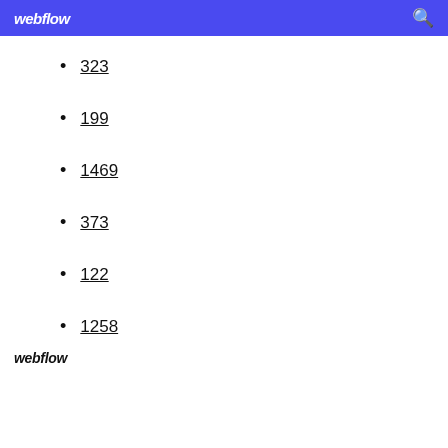webflow
323
199
1469
373
122
1258
webflow